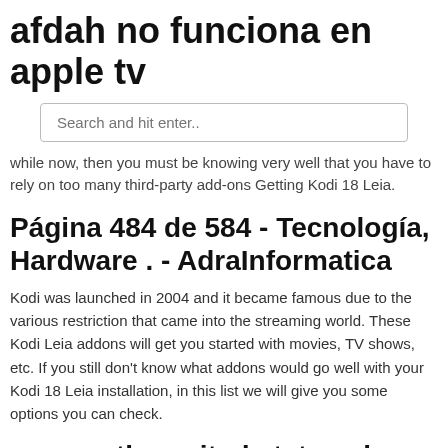afdah no funciona en apple tv
[Figure (screenshot): Search input box with placeholder text 'Search and hit enter..']
while now, then you must be knowing very well that you have to rely on too many third-party add-ons Getting Kodi 18 Leia.
Página 484 de 584 - Tecnología, Hardware . - AdraInformatica
Kodi was launched in 2004 and it became famous due to the various restriction that came into the streaming world. These Kodi Leia addons will get you started with movies, TV shows, etc. If you still don't know what addons would go well with your Kodi 18 Leia installation, in this list we will give you some options you can check.
songes the united states phone area codes unterschied office .
To bypass these regional restrictions and watch live and on-demand content on any Kodi plugin you want anywhere you want you How to install Kodi 18 Leia RC 1 on Windows 10